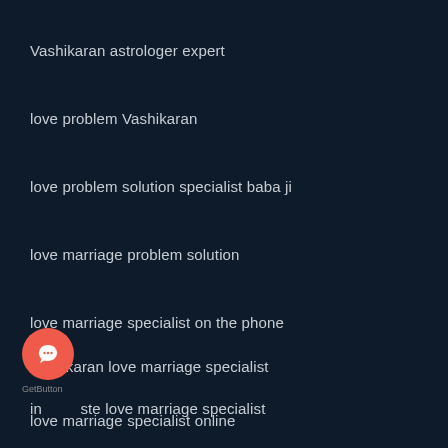Vashikaran astrologer expert
love problem Vashikaran
love problem solution specialist baba ji
love marriage problem solution
love marriage specialist on the phone
vashikaran love marriage specialist
inter caste love marriage specialist
love marriage specialist online